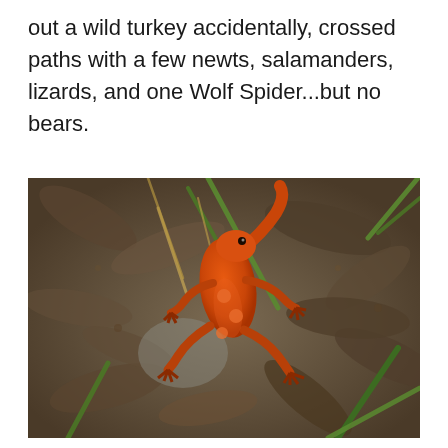out a wild turkey accidentally, crossed paths with a few newts, salamanders, lizards, and one Wolf Spider...but no bears.
[Figure (photo): Close-up photograph of a bright orange Eastern Red-Spotted Newt (red eft stage) on a forest floor covered with brown leaf litter and green grass blades.]